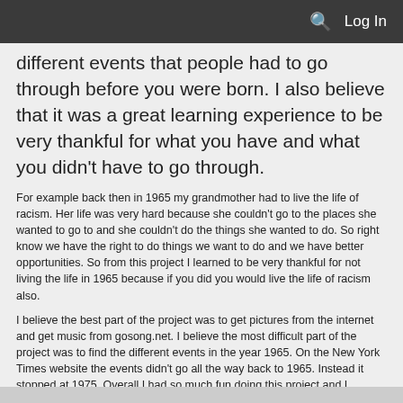Log In
different events that people had to go through before you were born. I also believe that it was a great learning experience to be very thankful for what you have and what you didn't have to go through.
For example back then in 1965 my grandmother had to live the life of racism. Her life was very hard because she couldn't go to the places she wanted to go to and she couldn't do the things she wanted to do. So right know we have the right to do things we want to do and we have better opportunities. So from this project I learned to be very thankful for not living the life in 1965 because if you did you would live the life of racism also.
I believe the best part of the project was to get pictures from the internet and get music from gosong.net. I believe the most difficult part of the project was to find the different events in the year 1965. On the New York Times website the events didn't go all the way back to 1965. Instead it stopped at 1975. Overall I had so much fun doing this project and I learned many things from it.
Comments
No comments have been posted yet.